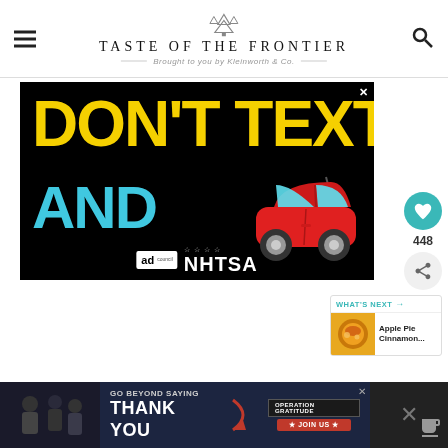TASTE OF THE FRONTIER — Brought to you by Kleinworth & Co.
[Figure (advertisement): Black background public safety ad reading DON'T TEXT AND [car emoji], with Ad Council and NHTSA logos at bottom]
[Figure (infographic): What's Next panel showing Apple Pie Cinnamon... teaser with food thumbnail]
[Figure (advertisement): Bottom banner ad: GO BEYOND SAYING THANK YOU with Operation Gratitude logo and JOIN US button]